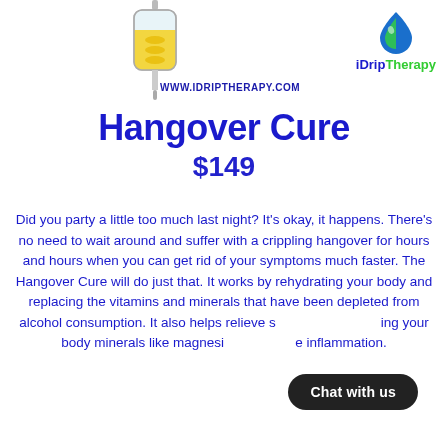[Figure (illustration): IV bag/syringe illustration with yellow/gold liquid contents, shown at top center of page]
[Figure (logo): iDripTherapy logo: blue and green water drop icon with text 'iDripTherapy' below in blue and green]
WWW.IDRIPTHERAPY.COM
Hangover Cure
$149
Did you party a little too much last night? It’s okay, it happens. There’s no need to wait around and suffer with a crippling hangover for hours and hours when you can get rid of your symptoms much faster. The Hangover Cure will do just that. It works by rehydrating your body and replacing the vitamins and minerals that have been depleted from alcohol consumption. It also helps relieve s[...]ing your body minerals like magnesi[...]e inflammation.